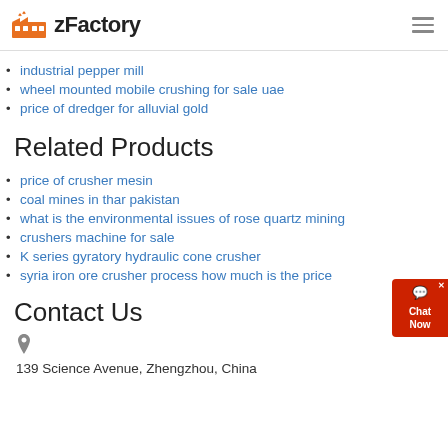zFactory
industrial pepper mill
wheel mounted mobile crushing for sale uae
price of dredger for alluvial gold
Related Products
price of crusher mesin
coal mines in thar pakistan
what is the environmental issues of rose quartz mining
crushers machine for sale
K series gyratory hydraulic cone crusher
syria iron ore crusher process how much is the price
Contact Us
139 Science Avenue, Zhengzhou, China